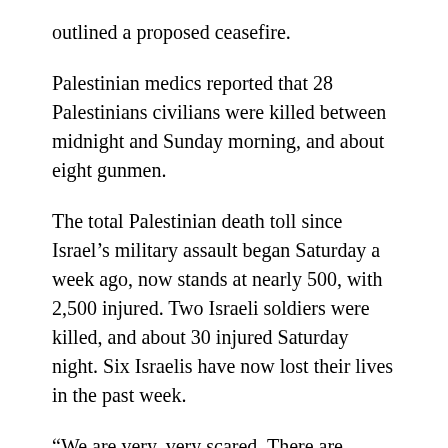outlined a proposed ceasefire.
Palestinian medics reported that 28 Palestinians civilians were killed between midnight and Sunday morning, and about eight gunmen.
The total Palestinian death toll since Israel’s military assault began Saturday a week ago, now stands at nearly 500, with 2,500 injured. Two Israeli soldiers were killed, and about 30 injured Saturday night. Six Israelis have now lost their lives in the past week.
“We are very, very scared. There are continual explosions,” said Raghda Jadely, 44, a Palestinian mother of one living with her brothers, sisters and parents in the al-Bureij refugee camp 15 minutes drive from Gaza city.
“The camp has been bombed numerous times. They have targeted cars and mosques, and there have been about 40